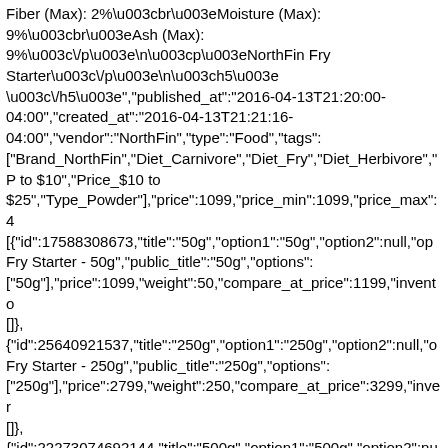Fiber (Max): 2%\u003cbr\u003eMoisture (Max): 9%\u003cbr\u003eAsh (Max): 9%\u003c\/p\u003e\n\u003cp\u003eNorthFin Fry Starter\u003c\/p\u003e\n\u003ch5\u003e \u003c\/h5\u003e","published_at":"2016-04-13T21:20:00-04:00","created_at":"2016-04-13T21:21:16-04:00","vendor":"NorthFin","type":"Food","tags":["Brand_NorthFin","Diet_Carnivore","Diet_Fry","Diet_Herbivore","Price_$5 to $10","Price_$10 to $25","Type_Powder"],"price":1099,"price_min":1099,"price_max":4699,"variants":[{"id":17588308673,"title":"50g","option1":"50g","option2":null,"option3":null,"sku":"NorthFin Fry Starter - 50g","public_title":"50g","options":["50g"],"price":1099,"weight":50,"compare_at_price":1199,"inventory_management":"shopify","barcode":"","requires_shipping":true,"inventory_quantity":16,"inventory_policy":"deny","taxable":true,"featured_media":null,"available":true,"name":"NorthFin Fry Starter - 50g","public_title":"50g","options":["50g"],"price":1099,"weight":50,"compare_at_price":1199,"inventory_policy":"deny","barcode":""}]},
{"id":25640921537,"title":"250g","option1":"250g","option2":null,"option3":null,"sku":"NorthFin Fry Starter - 250g","public_title":"250g","options":["250g"],"price":2799,"weight":250,"compare_at_price":3299,"inventory_management":"shopify","barcode":""}]},
{"id":22273074692144,"title":"500g","option1":"500g","option2":null,"option3":null,"sku":"NorthFin Fry Starter - 500g","public_title":"500g","options":["500g"],"price":4699,"weight":500,"compare_at_price":4999,"inventory_management":"shopify","barcode":""}]},"images":["//cdn.shopify.com\/s\/files\/1\/1246\/8713\/products\/northfin-fry-starter-15528810381360.jpg?v=1628054181","//cdn.shopify.com\/s\/files\/1\/1246\/8713\/products\/northfin-fry-starter-28738943844400.jpg?v=1628054181"]},{"featured_images":"//cdn.shopify.com\/s\/files\/1\/1